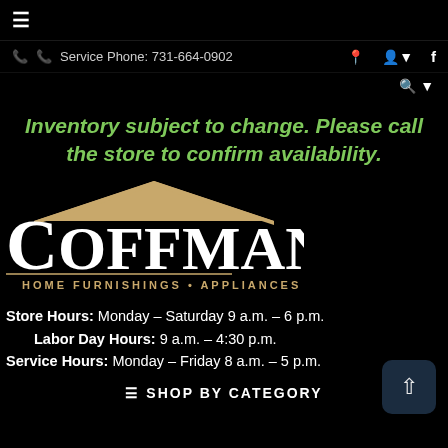☰
Service Phone: 731-664-0902
Inventory subject to change. Please call the store to confirm availability.
[Figure (logo): Coffman's Home Furnishings • Appliances logo with roof/house graphic above the text]
Store Hours: Monday - Saturday 9 a.m. - 6 p.m.
Labor Day Hours: 9 a.m. - 4:30 p.m.
Service Hours: Monday - Friday 8 a.m. - 5 p.m.
≡ SHOP BY CATEGORY